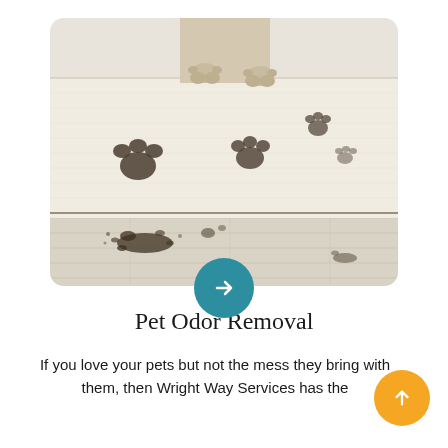[Figure (photo): A dog standing on a white/cream textured rug with muddy paw prints scattered across it, and dirt/mud splatters on the floor below the rug edge.]
Pet Odor Removal
If you love your pets but not the mess they bring with them, then Wright Way Services has the answer for just about every situation.